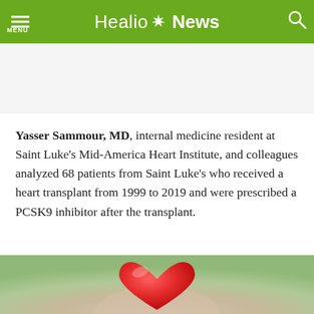Healio News
Yasser Sammour, MD, internal medicine resident at Saint Luke's Mid-America Heart Institute, and colleagues analyzed 68 patients from Saint Luke's who received a heart transplant from 1999 to 2019 and were prescribed a PCSK9 inhibitor after the transplant.
[Figure (photo): Close-up photo of a red heart-shaped object being held, with a blurred background of greens and neutrals.]